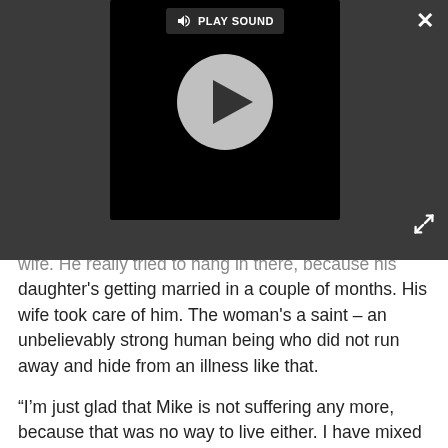[Figure (screenshot): Video/audio player overlay with dark background showing a play button circle and a 'PLAY SOUND' label. Close (×) button in top-right, expand arrows in bottom-right.]
wife. He really tried to hang in there, because his daughter's getting married in a couple of months. His wife took care of him. The woman's a saint – an unbelievably strong human being who did not run away and hide from an illness like that.
“I’m just glad that Mike is not suffering any more, because that was no way to live either. I have mixed emotions. Part of me is relieved that he’s not suffering. The other, selfish part of me is going, I miss him, I want to hold on to him. I want to hear him laugh again. But that wasn’t gonna happen anyway. So it’s